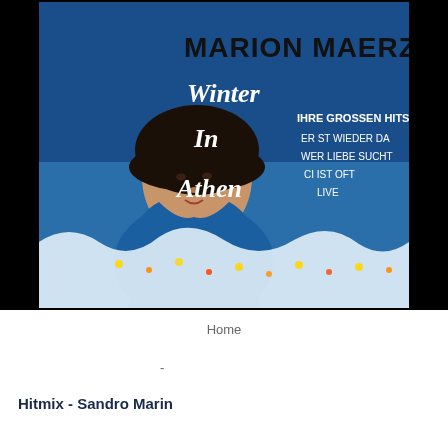[Figure (photo): Album cover for Marion Maerz 'Winter In Athen'. Blue background with photo of a woman wearing a dark hat and blue top, hand on chin. Text reads: MARION MAERZ, Winter In Athen, IHRE GROSSEN HITS, ER ST WIEDER DA, WER LIEBE SUCHT, CI IST OFT, LIVE. Bottom portion shows decorative lights on snow.]
Home
-
Hitmix - Sandro Marin